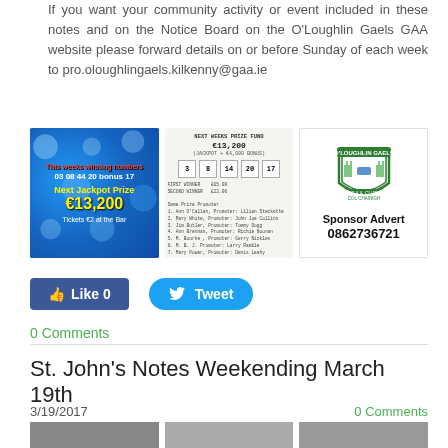If you want your community activity or event included in these notes and on the Notice Board on the O'Loughlin Gaels GAA website please forward details on or before Sunday of each week to pro.oloughlingaels.kilkenny@gaa.ie
[Figure (photo): Lotto numbers image: This weeks winning numbers 03 08 44 20 bonus 17, Next Jackpot Prize €13,200, Tickets €2 at the Bar]
[Figure (photo): Receipt/ticket showing NEXT WEEKS PRIZE FUND €13,200, JACKPOT + €4,000 BONUS, numbers 3 8 14 20 17, First Winner and Second Winner sections with names]
[Figure (logo): O'Loughlin Gaels GAA Club shield logo with text Sponsor Advert 0862736721]
Like 0
Tweet
0 Comments
St. John's Notes Weekending March 19th
3/19/2017
0 Comments
[Figure (photo): Bottom row of three partially visible photos]